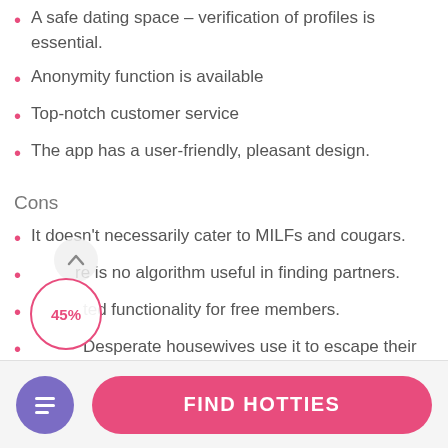A safe dating space – verification of profiles is essential.
Anonymity function is available
Top-notch customer service
The app has a user-friendly, pleasant design.
Cons
It doesn't necessarily cater to MILFs and cougars.
re is no algorithm useful in finding partners.
ted functionality for free members.
Desperate housewives use it to escape their